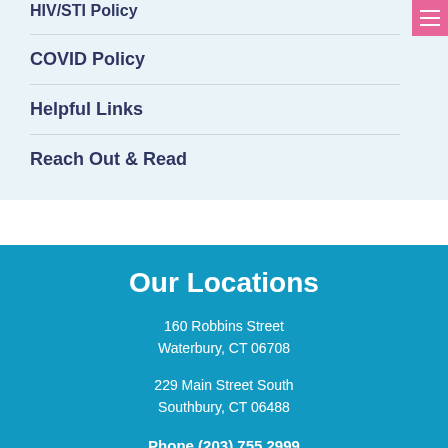HIV/STI Policy
COVID Policy
Helpful Links
Reach Out & Read
Our Locations
160 Robbins Street
Waterbury, CT 06708
229 Main Street South
Southbury, CT 06488
Phone (203) 755 2999